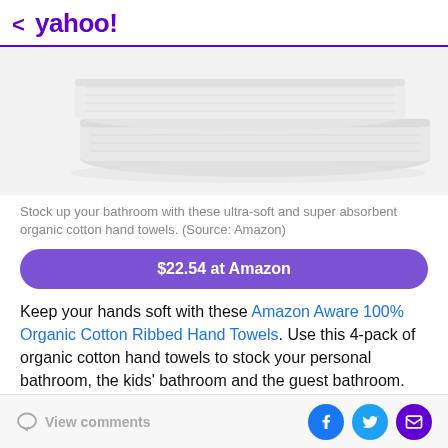< yahoo!
[Figure (photo): Folded white organic cotton hand towels stacked on a white background]
Stock up your bathroom with these ultra-soft and super absorbent organic cotton hand towels. (Source: Amazon)
$22.54 at Amazon
Keep your hands soft with these Amazon Aware 100% Organic Cotton Ribbed Hand Towels. Use this 4-pack of organic cotton hand towels to stock your personal bathroom, the kids' bathroom and the guest bathroom.
View comments